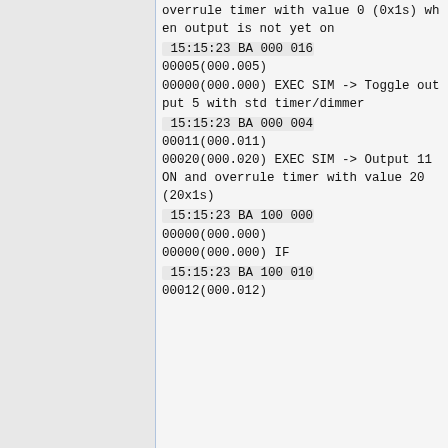overrule timer with value 0 (0x1s) when output is not yet on
15:15:23 BA 000 016 00005(000.005) 00000(000.000) EXEC SIM -> Toggle output 5 with std timer/dimmer
15:15:23 BA 000 004 00011(000.011) 00020(000.020) EXEC SIM -> Output 11 ON and overrule timer with value 20 (20x1s)
15:15:23 BA 100 000 00000(000.000) 00000(000.000) IF
15:15:23 BA 100 010 00012(000.012)